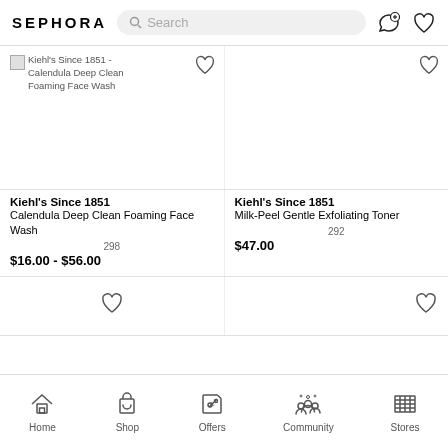SEPHORA — Search bar and icons
[Figure (screenshot): Kiehl's Since 1851 - Calendula Deep Clean Foaming Face Wash product image placeholder]
Kiehl's Since 1851
Calendula Deep Clean Foaming Face Wash
298
$16.00 - $56.00
Kiehl's Since 1851
Milk-Peel Gentle Exfoliating Toner
292
$47.00
Home  Shop  Offers  Community  Stores